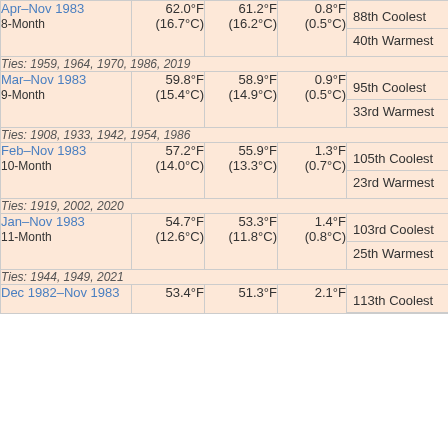| Period | Actual Temp | Average Temp | Departure | Rank | Type |
| --- | --- | --- | --- | --- | --- |
| Apr–Nov 1983 / 8-Month | 62.0°F (16.7°C) | 61.2°F (16.2°C) | 0.8°F (0.5°C) | 88th Coolest | Coo |
|  |  |  |  | 40th Warmest | War |
| Ties: 1959, 1964, 1970, 1986, 2019 |  |  |  |  |  |
| Mar–Nov 1983 / 9-Month | 59.8°F (15.4°C) | 58.9°F (14.9°C) | 0.9°F (0.5°C) | 95th Coolest | Coo |
|  |  |  |  | 33rd Warmest | War |
| Ties: 1908, 1933, 1942, 1954, 1986 |  |  |  |  |  |
| Feb–Nov 1983 / 10-Month | 57.2°F (14.0°C) | 55.9°F (13.3°C) | 1.3°F (0.7°C) | 105th Coolest | Coo |
|  |  |  |  | 23rd Warmest | War |
| Ties: 1919, 2002, 2020 |  |  |  |  |  |
| Jan–Nov 1983 / 11-Month | 54.7°F (12.6°C) | 53.3°F (11.8°C) | 1.4°F (0.8°C) | 103rd Coolest | Coo |
|  |  |  |  | 25th Warmest | War |
| Ties: 1944, 1949, 2021 |  |  |  |  |  |
| Dec 1982–Nov 1983 | 53.4°F | 51.3°F | 2.1°F | 113th Coolest | Coo |